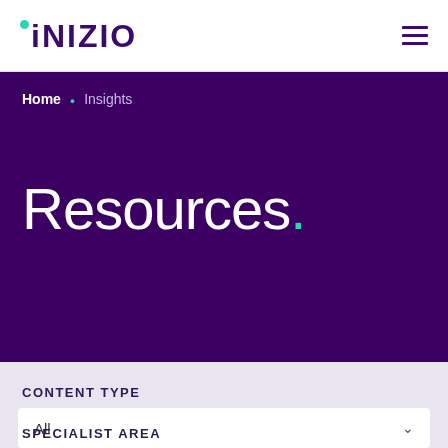[Figure (logo): iNIZIO logo with teal dot before the capital I, dark purple text]
Home • Insights
Resources.
CONTENT TYPE
All
SPECIALIST AREA